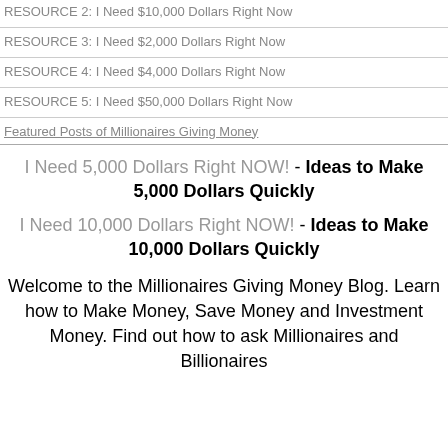RESOURCE 2: I Need $10,000 Dollars Right Now
RESOURCE 3: I Need $2,000 Dollars Right Now
RESOURCE 4: I Need $4,000 Dollars Right Now
RESOURCE 5: I Need $50,000 Dollars Right Now
Featured Posts of Millionaires Giving Money
I Need 5,000 Dollars Right NOW! - Ideas to Make 5,000 Dollars Quickly
I Need 10,000 Dollars Right NOW! - Ideas to Make 10,000 Dollars Quickly
Welcome to the Millionaires Giving Money Blog. Learn how to Make Money, Save Money and Investment Money. Find out how to ask Millionaires and Billionaires